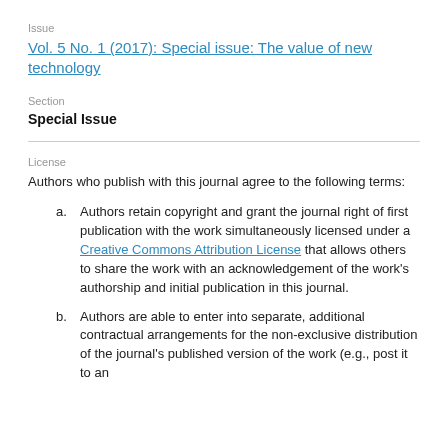Issue
Vol. 5 No. 1 (2017): Special issue: The value of new technology
Section
Special Issue
License
Authors who publish with this journal agree to the following terms:
Authors retain copyright and grant the journal right of first publication with the work simultaneously licensed under a Creative Commons Attribution License that allows others to share the work with an acknowledgement of the work's authorship and initial publication in this journal.
Authors are able to enter into separate, additional contractual arrangements for the non-exclusive distribution of the journal's published version of the work (e.g., post it to an